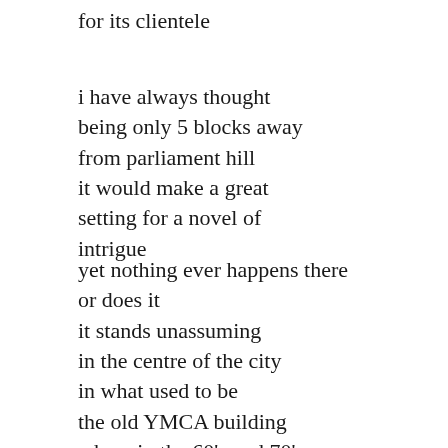for its clientele
i have always thought
being only 5 blocks away
from parliament hill
it would make a great
setting for a novel of
intrigue
yet nothing ever happens there
or does it
it stands unassuming
in the centre of the city
in what used to be
the old YMCA building
where in the 60's and 70's